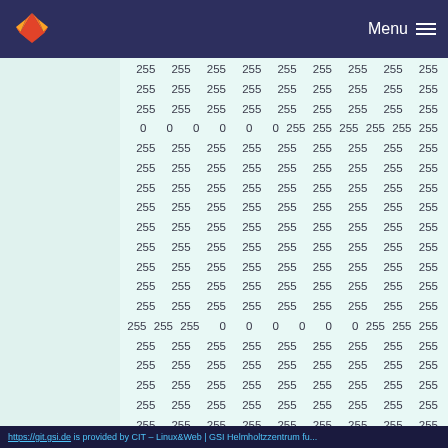GitLab navigation bar with logo and Menu button
255 255 255 255 255 255 255 255 255
255 255 255 255 255 255 255 255 255
255 255 255 255 255 255 255 255 255
0 0 0 0 0 0 255 255 255 255 255 255
255 255 255 255 255 255 255 255 255
255 255 255 255 255 255 255 255 255
255 255 255 255 255 255 255 255 255
255 255 255 255 255 255 255 255 255
255 255 255 255 255 255 255 255 255
255 255 255 255 255 255 255 255 255
255 255 255 255 255 255 255 255 255
255 255 255 255 255 255 255 255 255
255 255 255 255 255 255 255 255 255
255 255 255 0 0 0 0 0 0 255 255 255
255 255 255 255 255 255 255 255 255
255 255 255 255 255 255 255 255 255
255 255 255 255 255 255 255 255 255
255 255 255 255 255 255 255 255 255
255 255 255 255 255 255 255 255 255
https://git.gsi.de is provided by CIT – Linux&Web | GSI Helmholtzzentrum fu...